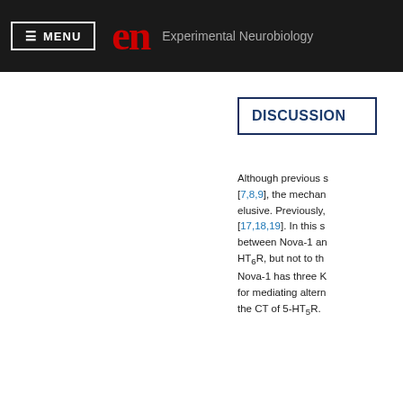≡ MENU  en  Experimental Neurobiology
DISCUSSION
Although previous s... [7,8,9], the mechan... elusive. Previously, [17,18,19]. In this s... between Nova-1 an... HT6R, but not to th... Nova-1 has three K... for mediating altern... the CT of 5-HT5R.